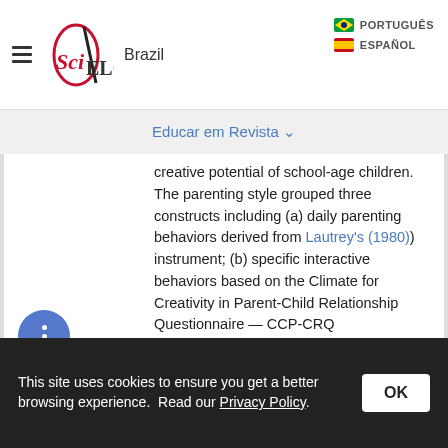SciELO Brazil — PORTUGUÊS / ESPAÑOL
Educar em Revista ∨
creative potential of school-age children. The parenting style grouped three constructs including (a) daily parenting behaviors derived from Lautrey's (1980) instrument; (b) specific interactive behaviors based on the Climate for Creativity in Parent-Child Relationship Questionnaire — CCP-CRQ (KWASENIESKA et al., 2018), and (c) attitudes reflecting creative self-efficacy items based on Karwowski's et al. (2011) research. We used EPoC during the two evaluation sessions with children to generate eight constructs measuring potential creativity of children.
This site uses cookies to ensure you get a better browsing experience. Read our Privacy Policy. OK